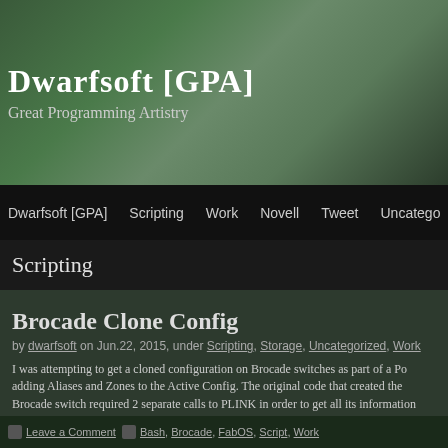Dwarfsoft [GPA]
Great Programming Artistry
Dwarfsoft [GPA] | Scripting | Work | Novell | Tweet | Uncatego...
Scripting
Brocade Clone Config
by dwarfsoft on Jun.22, 2015, under Scripting, Storage, Uncategorized, Work
I was attempting to get a cloned configuration on Brocade switches as part of a Po adding Aliases and Zones to the Active Config. The original code that created the Brocade switch required 2 separate calls to PLINK in order to get all its information cfgactvshow, and the second was a call to alishow. I knew there had to be a better the following one liner for cloning the active zone configuration based on our stand
zoneobjectcopy "`cfg=\`cfgactvshow|grep "cfg:\`;ec
(continue reading...)
Leave a Comment | Bash, Brocade, FabOS, Script, Work